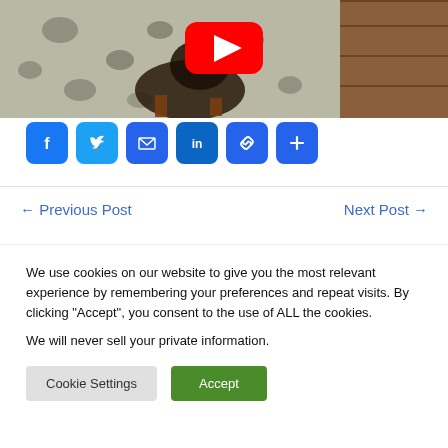[Figure (photo): Photo of a dog on a leopard-print blanket/couch, with a YouTube play button overlay in the center]
[Figure (infographic): Social share buttons: Facebook, Twitter, Email, LinkedIn, Copy Link, More]
← Previous Post    Next Post →
We use cookies on our website to give you the most relevant experience by remembering your preferences and repeat visits. By clicking "Accept", you consent to the use of ALL the cookies.
We will never sell your private information.
Cookie Settings    Accept